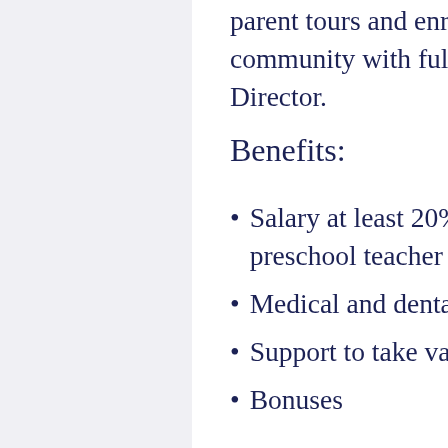parent tours and enrollments, and an educator community with full support from our local Program Director.
Benefits:
Salary at least 20% higher than the average preschool teacher for the neighborhood
Medical and dental benefits,
Support to take vacation days,
Bonuses